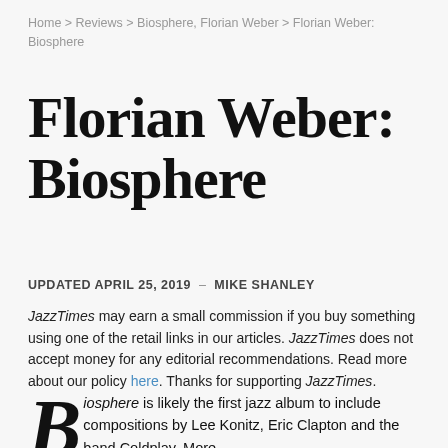Home > Reviews > Biosphere, Florian Weber > Florian Weber: Biosphere
Florian Weber: Biosphere
UPDATED APRIL 25, 2019 – MIKE SHANLEY
JazzTimes may earn a small commission if you buy something using one of the retail links in our articles. JazzTimes does not accept money for any editorial recommendations. Read more about our policy here. Thanks for supporting JazzTimes.
Biosphere is likely the first jazz album to include compositions by Lee Konitz, Eric Clapton and the band Coldplay. More